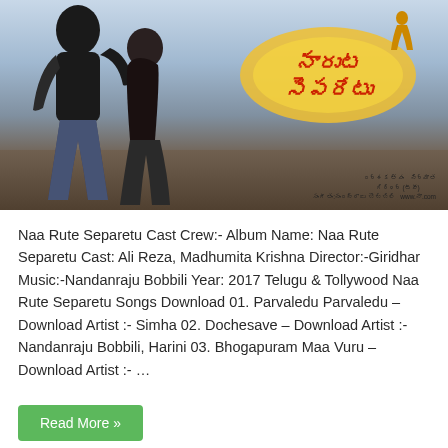[Figure (photo): Movie poster for 'Naa Rute Separetu' - a Telugu film showing a couple dancing/embracing, with the film title in Telugu script and production credits at the bottom]
Naa Rute Separetu Cast Crew:- Album Name: Naa Rute Separetu Cast: Ali Reza, Madhumita Krishna Director:-Giridhar Music:-Nandanraju Bobbili Year: 2017 Telugu & Tollywood Naa Rute Separetu Songs Download 01. Parvaledu Parvaledu – Download Artist :- Simha 02. Dochesave – Download Artist :- Nandanraju Bobbili, Harini 03. Bhogapuram Maa Vuru – Download Artist :- …
Read More »
Saptagiri LLB